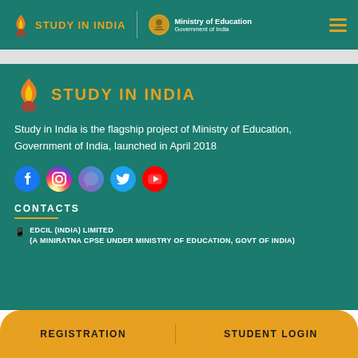STUDY IN INDIA | Ministry of Education Government of India
[Figure (logo): Study in India logo with flame icon and golden text]
Study in India is the flagship project of Ministry of Education, Government of India, launched in April 2018
[Figure (infographic): Social media icons: Facebook, Instagram, Messenger, Twitter, YouTube]
CONTACTS
📱  EDCIL (INDIA) LIMITED
(A MINIRATNA CPSE UNDER MINISTRY OF EDUCATION, GOVT OF INDIA)
REGISTRATION    STUDENT LOGIN